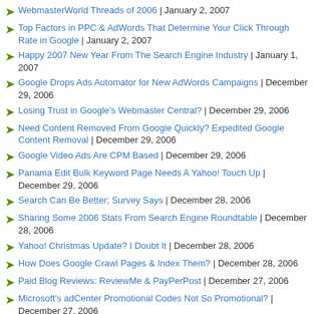WebmasterWorld Threads of 2006 | January 2, 2007
Top Factors in PPC & AdWords That Determine Your Click Through Rate in Google | January 2, 2007
Happy 2007 New Year From The Search Engine Industry | January 1, 2007
Google Drops Ads Automator for New AdWords Campaigns | December 29, 2006
Losing Trust in Google's Webmaster Central? | December 29, 2006
Need Content Removed From Google Quickly? Expedited Google Content Removal | December 29, 2006
Google Video Ads Are CPM Based | December 29, 2006
Panama Edit Bulk Keyword Page Needs A Yahoo! Touch Up | December 29, 2006
Search Can Be Better; Survey Says | December 28, 2006
Sharing Some 2006 Stats From Search Engine Roundtable | December 28, 2006
Yahoo! Christmas Update? I Doubt It | December 28, 2006
How Does Google Crawl Pages & Index Them? | December 28, 2006
Paid Blog Reviews: ReviewMe & PayPerPost | December 27, 2006
Microsoft's adCenter Promotional Codes Not So Promotional? | December 27, 2006
Google's AdSense Team Fixes Ad Filter Bug | December 27, 2006
Google's Data Refresh: Any Patterns or Commonalities? | December 27, 2006
Cre8asite Forums To Donate $1,600 Towards SEM Organizations | December 27, 2006
Vanessa & Adam Working on Christmas Day | December 26, 2006